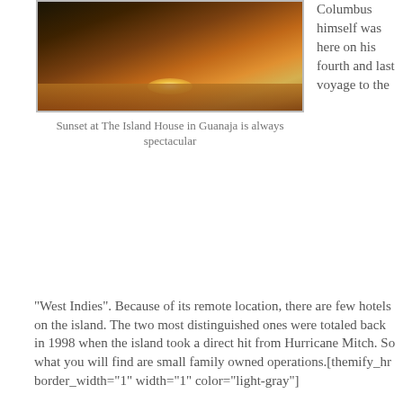[Figure (photo): Sunset photo at The Island House in Guanaja, showing silhouette against golden light reflecting on water]
Sunset at The Island House in Guanaja is always spectacular
Columbus himself was here on his fourth and last voyage to the “West Indies”. Because of its remote location, there are few hotels on the island. The two most distinguished ones were totaled back in 1998 when the island took a direct hit from Hurricane Mitch.  So what you will find are small family owned operations.[themify_hr border_width=“1” width=“1” color=“light-gray”]
[Figure (photo): Second photo, partially visible at bottom of page]
Just like in Roatan, your best alternative is to stay on the north side of the